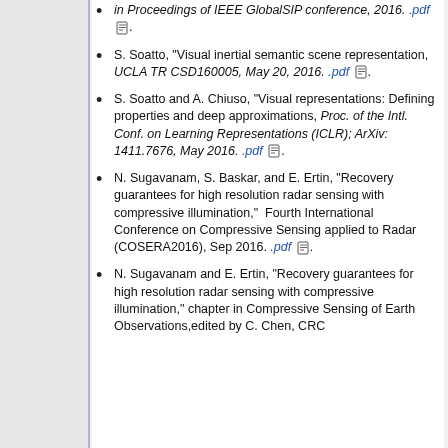in Proceedings of IEEE GlobalSIP conference, 2016. .pdf
S. Soatto, "Visual inertial semantic scene representation, UCLA TR CSD160005, May 20, 2016. .pdf
S. Soatto and A. Chiuso, "Visual representations: Defining properties and deep approximations, Proc. of the Intl. Conf. on Learning Representations (ICLR); ArXiv: 1411.7676, May 2016. .pdf
N. Sugavanam, S. Baskar, and E. Ertin, "Recovery guarantees for high resolution radar sensing with compressive illumination," Fourth International Conference on Compressive Sensing applied to Radar (COSERA2016), Sep 2016. .pdf
N. Sugavanam and E. Ertin, "Recovery guarantees for high resolution radar sensing with compressive illumination," chapter in Compressive Sensing of Earth Observations, edited by C. Chen, CRC